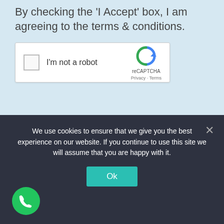By checking the 'I Accept' box, I am agreeing to the terms & conditions.
[Figure (screenshot): reCAPTCHA widget with checkbox labeled 'I'm not a robot' and reCAPTCHA logo with Privacy and Terms links]
Download our Guide
We use cookies to ensure that we give you the best experience on our website. If you continue to use this site we will assume that you are happy with it.
[Figure (other): Green phone call button (circular)]